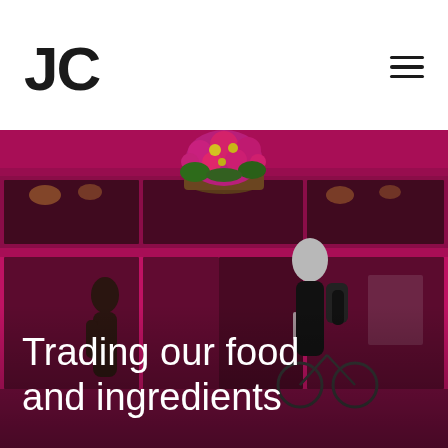JC
[Figure (photo): Exterior of a restaurant/shop with bright magenta/pink storefront framing, hanging flower basket with pink and yellow blooms, a woman walking on the left, and a man cycling on the right]
Trading our food and ingredients